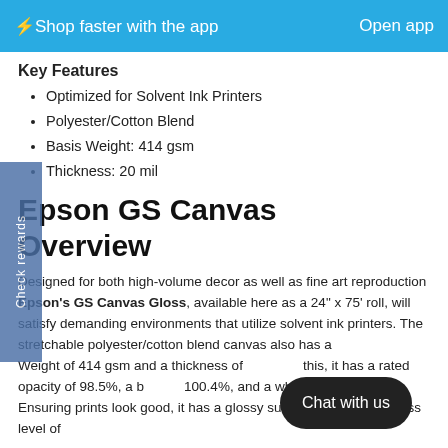⚡Shop faster with the app    Open app
Key Features
Optimized for Solvent Ink Printers
Polyester/Cotton Blend
Basis Weight: 414 gsm
Thickness: 20 mil
Epson GS Canvas Overview
Designed for both high-volume decor as well as fine art reproduction Epson's GS Canvas Gloss, available here as a 24" x 75' roll, will satisfy demanding environments that utilize solvent ink printers. The stretchable polyester/cotton blend canvas also has a Basis Weight of 414 gsm and a thickness of [obscured]. On top of this, it has a rated opacity of 98.5%, a brightness of 100.4%, and a whiteness of 121%. Ensuring prints look good, it has a glossy surface finish with a gloss level of